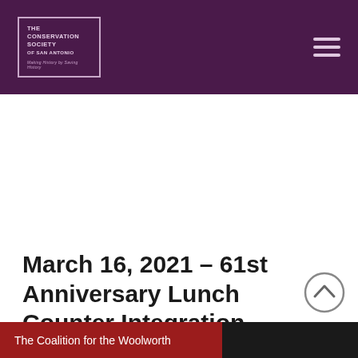THE CONSERVATION SOCIETY OF SAN ANTONIO — MAKING HISTORY BY SAVING HISTORY
March 16, 2021 – 61st Anniversary Lunch Counter Integration
The Coalition for the Woolworth